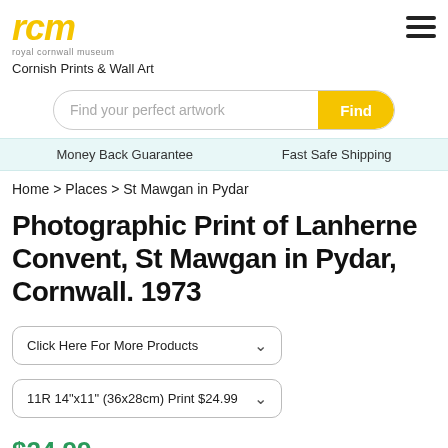[Figure (logo): Royal Cornwall Museum logo - 'rcm' in yellow italic bold text with 'royal cornwall museum' subtitle]
Cornish Prints & Wall Art
Find your perfect artwork [Find]
Money Back Guarantee   Fast Safe Shipping
Home > Places > St Mawgan in Pydar
Photographic Print of Lanherne Convent, St Mawgan in Pydar, Cornwall. 1973
Click Here For More Products
11R 14"x11" (36x28cm) Print $24.99
$24.99